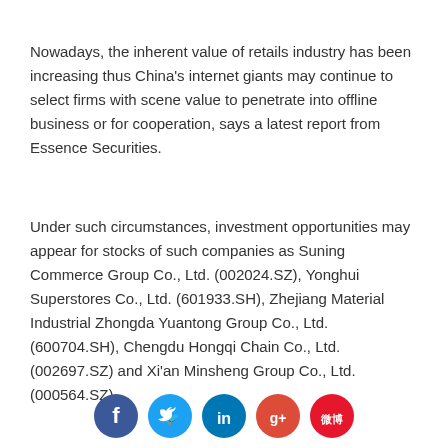Nowadays, the inherent value of retails industry has been increasing thus China's internet giants may continue to select firms with scene value to penetrate into offline business or for cooperation, says a latest report from Essence Securities.
Under such circumstances, investment opportunities may appear for stocks of such companies as Suning Commerce Group Co., Ltd. (002024.SZ), Yonghui Superstores Co., Ltd. (601933.SH), Zhejiang Material Industrial Zhongda Yuantong Group Co., Ltd. (600704.SH), Chengdu Hongqi Chain Co., Ltd. (002697.SZ) and Xi'an Minsheng Group Co., Ltd. (000564.SZ).
[Figure (illustration): Social media sharing icons: Facebook (blue), Twitter (cyan/blue), LinkedIn (blue), Google+ (red), Weibo (red)]